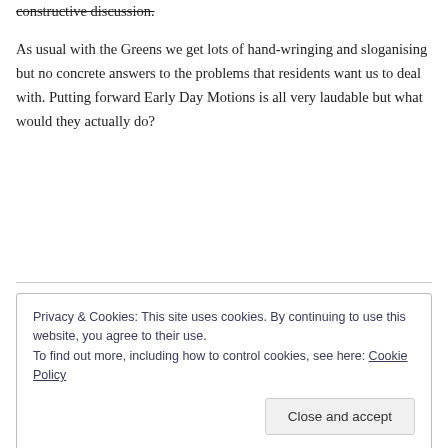constructive discussion.
As usual with the Greens we get lots of hand-wringing and sloganising but no concrete answers to the problems that residents want us to deal with. Putting forward Early Day Motions is all very laudable but what would they actually do?
Privacy & Cookies: This site uses cookies. By continuing to use this website, you agree to their use.
To find out more, including how to control cookies, see here: Cookie Policy
Close and accept